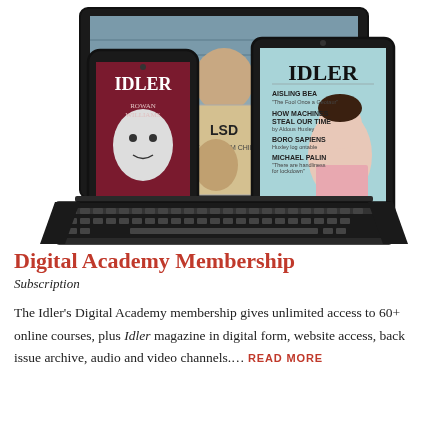[Figure (illustration): Illustration of digital devices (laptop, smartphone, tablet) showing Idler magazine covers and a person holding an LSD book]
Digital Academy Membership
Subscription
The Idler's Digital Academy membership gives unlimited access to 60+ online courses, plus Idler magazine in digital form, website access, back issue archive, audio and video channels…. READ MORE